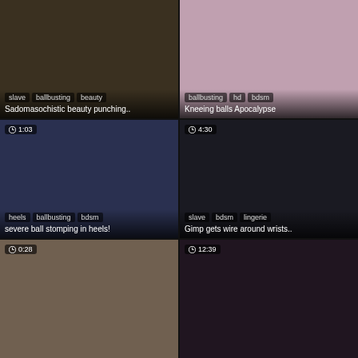[Figure (photo): Video thumbnail - top left, no duration shown]
slave  ballbusting  beauty
Sadomasochistic beauty punching..
[Figure (photo): Video thumbnail - top right, no duration shown]
ballbusting  hd  bdsm
Kneeing balls Apocalypse
[Figure (photo): Video thumbnail - middle left, duration 1:03]
heels  ballbusting  bdsm
severe ball stomping in heels!
[Figure (photo): Video thumbnail - middle right, duration 4:30]
slave  bdsm  lingerie
Gimp gets wire around wrists..
[Figure (photo): Video thumbnail - bottom left, duration 0:28]
[Figure (photo): Video thumbnail - bottom right, duration 12:39]